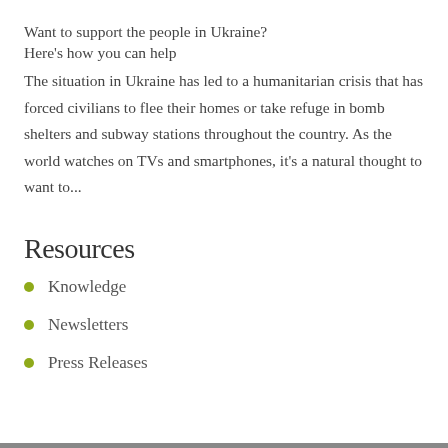Want to support the people in Ukraine? Here's how you can help
The situation in Ukraine has led to a humanitarian crisis that has forced civilians to flee their homes or take refuge in bomb shelters and subway stations throughout the country. As the world watches on TVs and smartphones, it's a natural thought to want to...
Resources
Knowledge
Newsletters
Press Releases